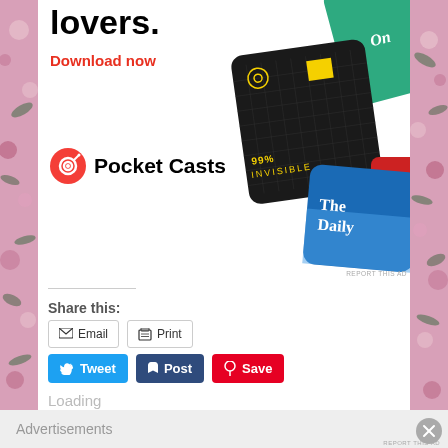lovers.
Download now
[Figure (logo): Pocket Casts logo with circular icon and text 'Pocket Casts']
[Figure (illustration): Podcast app cards showing 99% Invisible (black with yellow square), The Daily (blue gradient), and another card (green)]
REPORT THIS AD
Share this:
Email
Print
Tweet
Post
Save
Loading
Advertisements
REPORT THIS AD